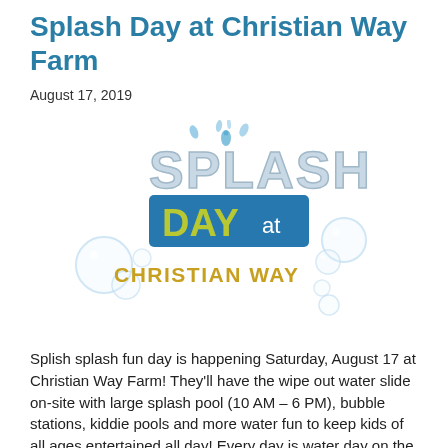Splash Day at Christian Way Farm
August 17, 2019
[Figure (logo): Splash Day at Christian Way Farm logo with water bubble decorations, stylized 'SPLASH' text in light blue, 'DAY at' in a blue rectangle with yellow-green 'DAY' text, and 'CHRISTIAN WAY' in golden/amber letters below]
Splish splash fun day is happening Saturday, August 17 at Christian Way Farm! They'll have the wipe out water slide on-site with large splash pool (10 AM – 6 PM), bubble stations, kiddie pools and more water fun to keep kids of all ages entertained all day! Every day is water day on the farm-themed mini golf course! Play nine rounds on Splash Day and see if you can keep the ball out of the water features throughout the